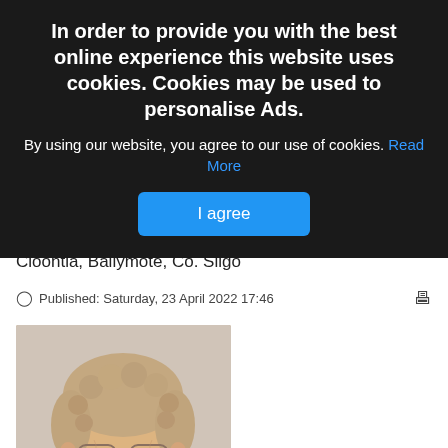In order to provide you with the best online experience this website uses cookies. Cookies may be used to personalise Ads.
By using our website, you agree to our use of cookies. Read More
I agree
Mary (Mae) Forkin (nee Towey), Derrinabruck West, Cloontia, Ballymote, Co. Sligo
Published: Saturday, 23 April 2022 17:46
[Figure (photo): Portrait photo of an elderly woman with curly light brown/grey hair, wearing glasses, with a white collar visible at the bottom of the frame.]